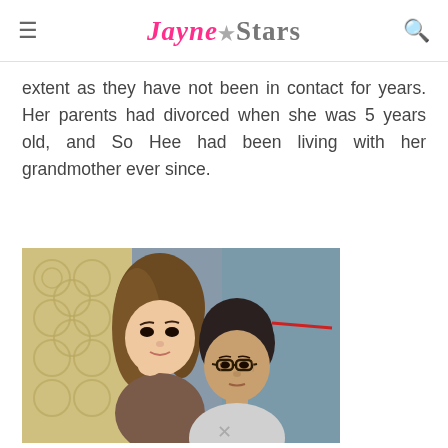JAYNE★STARS
extent as they have not been in contact for years. Her parents had divorced when she was 5 years old, and So Hee had been living with her grandmother ever since.
[Figure (photo): A young woman with long brown hair posing cheek-to-cheek with an elderly woman wearing glasses, in what appears to be an indoor public space.]